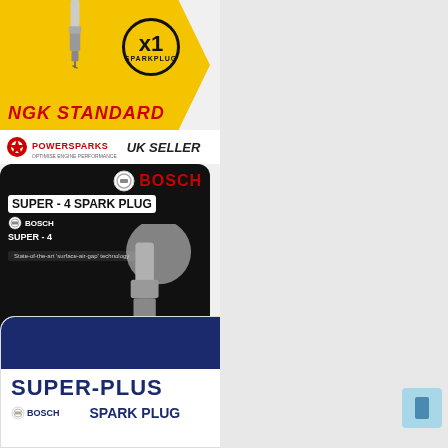[Figure (photo): NGK Standard spark plug product image on yellow pentagonal background with x1 circle badge and 'NGK STANDARD' text]
[Figure (logo): PowerSparks logo with red gear icon and 'UK SELLER' text]
[Figure (photo): Bosch Super-4 spark plug product packaging on black rounded rectangle background showing spark plug photo, x1 badge, and SUPER-4 label]
[Figure (photo): Bosch Super-Plus spark plug product packaging on dark navy/white background showing BOSCH logo and SUPER-PLUS SPARK PLUG text, partially cropped]